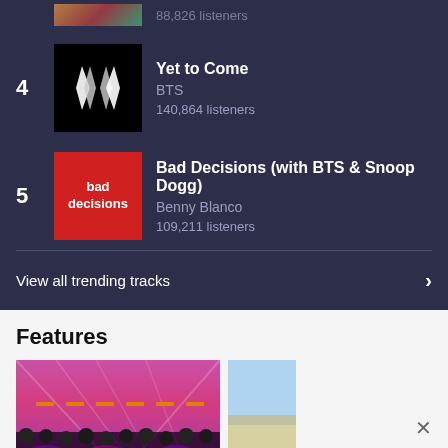88,826 listeners
4 · Yet to Come · BTS · 140,864 listeners
5 · Bad Decisions (with BTS & Snoop Dogg) · Benny Blanco · 109,211 listeners
View all trending tracks
Features
[Figure (photo): Concert stage with purple/pink lighting, stage equipment, speakers and lighting rigs visible under a tent]
[Figure (photo): Partial second features image, appears to be outdoors scene]